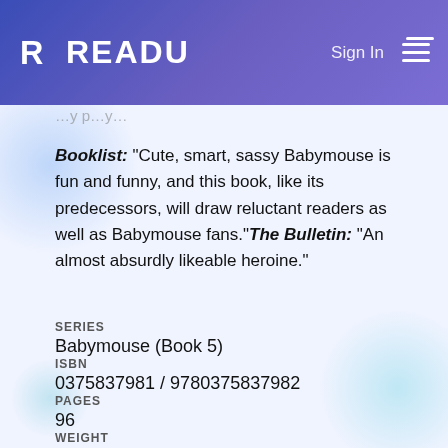READU  Sign In
Booklist: "Cute, smart, sassy Babymouse is fun and funny, and this book, like its predecessors, will draw reluctant readers as well as Babymouse fans." The Bulletin: "An almost absurdly likeable heroine."
SERIES
Babymouse (Book 5)
ISBN
0375837981 / 9780375837982
PAGES
96
WEIGHT
6.4 oz.
DIMENSIONS
5.5 x 0.4 in.